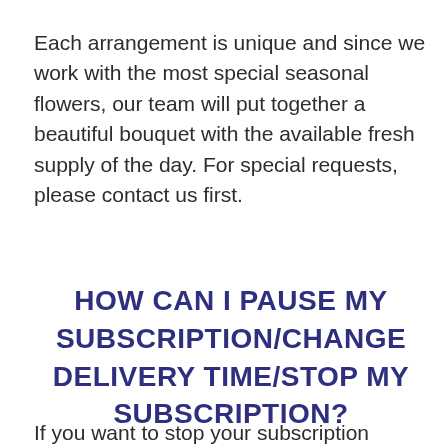Each arrangement is unique and since we work with the most special seasonal flowers, our team will put together a beautiful bouquet with the available fresh supply of the day. For special requests, please contact us first.
HOW CAN I PAUSE MY SUBSCRIPTION/CHANGE DELIVERY TIME/STOP MY SUBSCRIPTION?
If you want to stop your subscription please contact